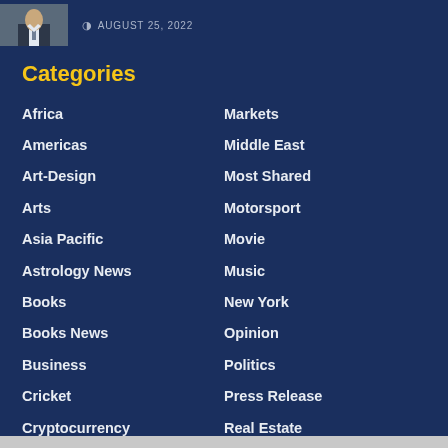[Figure (photo): Small portrait photo of a person in a suit, top-left corner]
AUGUST 25, 2022
Categories
Africa
Markets
Americas
Middle East
Art-Design
Most Shared
Arts
Motorsport
Asia Pacific
Movie
Astrology News
Music
Books
New York
Books News
Opinion
Business
Politics
Cricket
Press Release
Cryptocurrency
Real Estate
Dance
Review
Dining And Wine
Science & Space